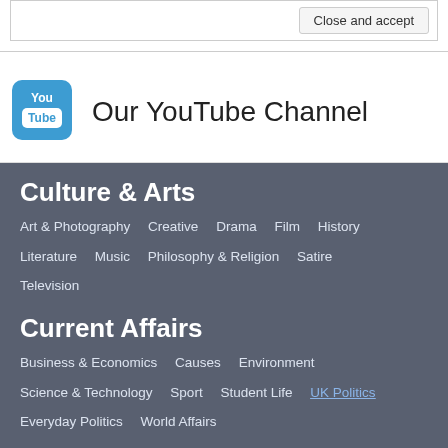[Figure (screenshot): Close and accept button in a bordered box at the top]
[Figure (logo): YouTube logo icon — blue rounded square with white YouTube wordmark and play button]
Our YouTube Channel
Culture & Arts
Art & Photography   Creative   Drama   Film   History
Literature   Music   Philosophy & Religion   Satire
Television
Current Affairs
Business & Economics   Causes   Environment
Science & Technology   Sport   Student Life   UK Politics
Everyday Politics   World Affairs
Lifestyle
Fashion & Beauty   Food   Gaming   Sex & Love   Travel